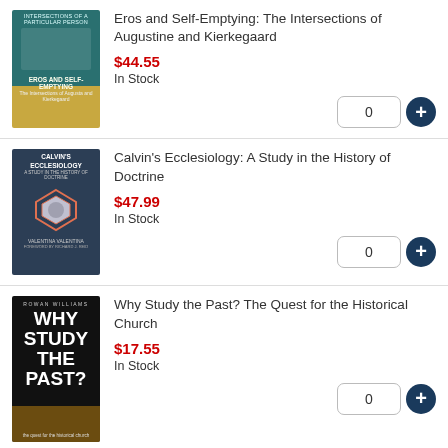[Figure (illustration): Book cover for Eros and Self-Emptying: The Intersections of Augustine and Kierkegaard, teal and gold cover with a face]
Eros and Self-Emptying: The Intersections of Augustine and Kierkegaard
$44.55
In Stock
[Figure (illustration): Book cover for Calvin's Ecclesiology: A Study in the History of Doctrine, dark blue cover with hexagonal design]
Calvin's Ecclesiology: A Study in the History of Doctrine
$47.99
In Stock
[Figure (illustration): Book cover for Why Study the Past? The Quest for the Historical Church, dark cover with large text]
Why Study the Past? The Quest for the Historical Church
$17.55
In Stock